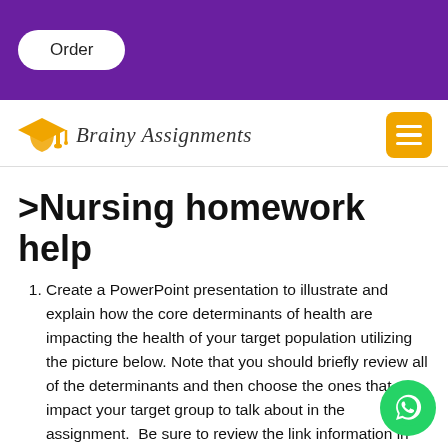Order
[Figure (logo): Brainy Assignments logo with graduation cap icon and hamburger menu button]
>Nursing homework help
Create a PowerPoint presentation to illustrate and explain how the core determinants of health are impacting the health of your target population utilizing the picture below. Note that you should briefly review all of the determinants and then choose the ones that impact your target group to talk about in the assignment.  Be sure to review the link information in the classroom on Core Determinants of Health.  You will then use the power point you created as a visual and record